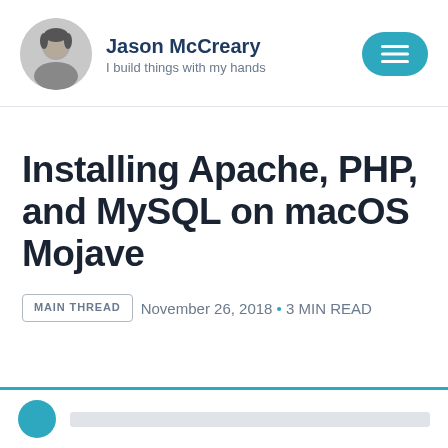Jason McCreary — I build things with my hands
Installing Apache, PHP, and MySQL on macOS Mojave
MAIN THREAD  November 26, 2018 • 3 MIN READ